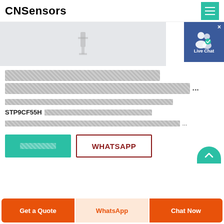CNSensors [menu icon]
[Figure (photo): Product image area with light gray background showing a faint product silhouette/icon, and a Facebook Live Chat widget in the top right corner]
[placeholder text - product title in non-Latin script] ...
[placeholder text - product metadata line]
STP9CF55H [placeholder text - product SKU description]
[placeholder text - product description] ...
[Enquiry button] WHATSAPP button
Get a Quote | WhatsApp | Chat Now